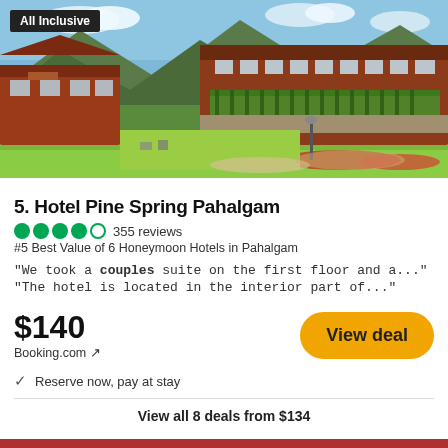[Figure (photo): Exterior photo of Hotel Pine Spring Pahalgam showing a large red/brown wooden building with gardens, green lawn, mountain backdrop, and outdoor seating. 'All Inclusive' badge in top-left corner.]
5. Hotel Pine Spring Pahalgam
●●●●○ 355 reviews
#5 Best Value of 6 Honeymoon Hotels in Pahalgam
"We took a couples suite on the first floor and a..."
"The hotel is located in the interior part of..."
$140
Booking.com ↗
View deal
✓  Reserve now, pay at stay
View all 8 deals from $134